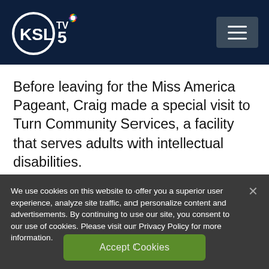KSL TV 5 (logo) — navigation header with hamburger menu
Before leaving for the Miss America Pageant, Craig made a special visit to Turn Community Services, a facility that serves adults with intellectual disabilities.
We use cookies on this website to offer you a superior user experience, analyze site traffic, and personalize content and advertisements. By continuing to use our site, you consent to our use of cookies. Please visit our Privacy Policy for more information.